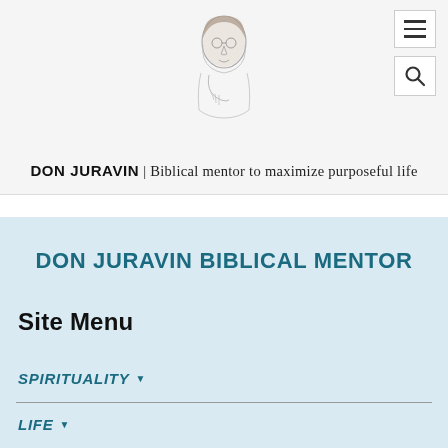[Figure (illustration): Pencil sketch portrait of Don Juravin, a man in thoughtful pose with hand near chin]
DON JURAVIN | Biblical mentor to maximize purposeful life
DON JURAVIN BIBLICAL MENTOR
Site Menu
SPIRITUALITY
LIFE